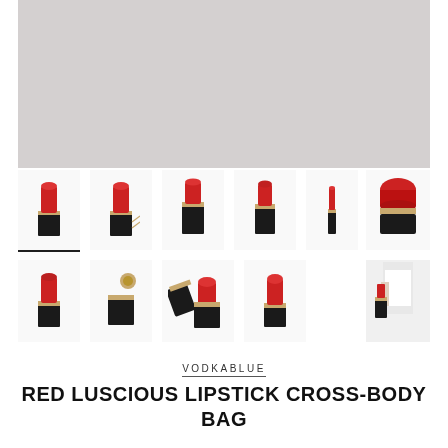[Figure (photo): Large grey placeholder main product image area]
[Figure (photo): Thumbnail grid of Red Luscious Lipstick Cross-Body Bag product photos showing various angles: with chain, without cap, closed, tiny, large top view, side view, open, red lipstick out, model holding bag]
VODKABLUE
RED LUSCIOUS LIPSTICK CROSS-BODY BAG